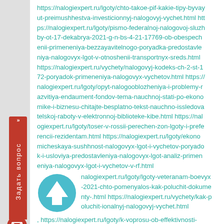https://nalogiexpert.ru/lgoty/chto-takoe-pif-kakie-tipy-byvayut-preimushhestva-investicionnyj-nalogovyj-vychet.html https://nalogiexpert.ru/lgoty/pismo-federalnoj-nalogovoj-sluzhby-ot-17-dekabrya-2021-g-n-bs-4-21-17769-ob-obespechenii-primeneniya-bezzayavitelnogo-poryadka-predostavleniya-nalogovyx-lgot-v-otnoshenii-transportnyx-sreds.html https://nalogiexpert.ru/vychety/nalogovyj-kodeks-ch-2-st-172-poryadok-primeneniya-nalogovyx-vychetov.html https://nalogiexpert.ru/lgoty/opyt-nalogooblozheniya-i-problemy-razvitiya-endaument-fondov-tema-nauchnoj-stati-po-ekonomike-i-biznesu-chitajte-besplatno-tekst-nauchno-issledovatelskoj-raboty-v-elektronnoj-biblioteke-kibe.html https://nalogiexpert.ru/lgoty/toser-v-rossii-perechen-zon-lgoty-i-preferencii-rezidentam.html https://nalogiexpert.ru/lgoty/ekonomicheskaya-sushhnost-nalogovyx-lgot-i-vychetov-poryadok-i-usloviya-predostavleniya-nalogovyx-lgot-analiz-primeneniya-nalogovyx-lgot-i-vychetov-v-rf.html
[Figure (other): Circular up-arrow button in teal/cyan color]
nalogiexpert.ru/lgoty/lgoty-veteranam-boevyx-2021-chto-pomenyalos-kak-poluchit-dokumenty-.html https://nalogiexpert.ru/vychety/kak-poluchit-ionalnyj-nalogovyj-vychet.html
, https://nalogiexpert.ru/lgoty/k-voprosu-ob-effektivnosti-